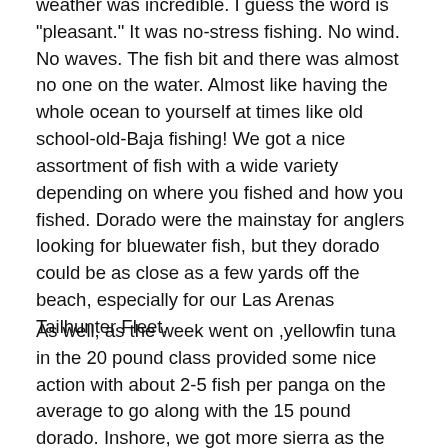weather was incredible. I guess the word is 'pleasant.' It was no-stress fishing. No wind. No waves. The fish bit and there was almost no one on the water. Almost like having the whole ocean to yourself at times like old school-old-Baja fishing! We got a nice assortment of fish with a wide variety depending on where you fished and how you fished. Dorado were the mainstay for anglers looking for bluewater fish, but they dorado could be as close as a few yards off the beach, especially for our Las Arenas Tailhunter Fleet.
As well, as the week went on ,yellowfin tuna in the 20 pound class provided some nice action with about 2-5 fish per panga on the average to go along with the 15 pound dorado. Inshore, we got more sierra as the waters cooled but roosterfish and snapper were also in the counts as well as amberjack, pompano and jack crevalle.